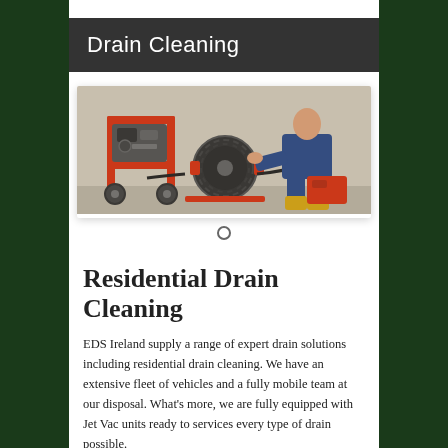Drain Cleaning
[Figure (photo): A worker in blue overalls and yellow boots crouching next to a red drain cleaning machine with a large cable reel on a concrete surface.]
Residential Drain Cleaning
EDS Ireland supply a range of expert drain solutions including residential drain cleaning. We have an extensive fleet of vehicles and a fully mobile team at our disposal. What's more, we are fully equipped with Jet Vac units ready to services every type of drain possible.